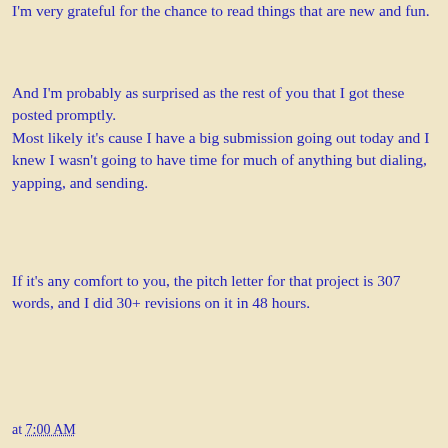I'm very grateful for the chance to read things that are new and fun.
And I'm probably as surprised as the rest of you that I got these posted promptly.
Most likely it's cause I have a big submission going out today and I knew I wasn't going to have time for much of anything but dialing, yapping, and sending.
If it's any comfort to you, the pitch letter for that project is 307 words, and I did 30+ revisions on it in 48 hours.
at 7:00 AM